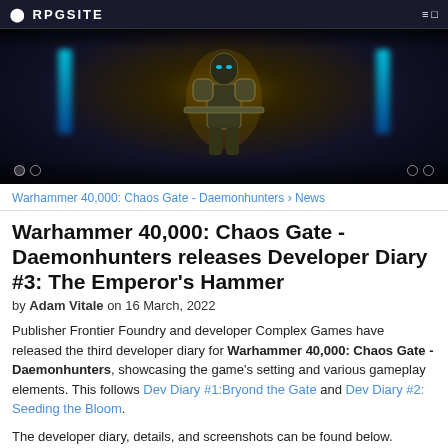RPGSITE
[Figure (photo): Hero banner image showing a large armored Space Marine character from Warhammer 40,000: Chaos Gate - Daemonhunters, with glowing blue light beams on either side, against a dark sci-fi background]
Warhammer 40,000: Chaos Gate - Daemonhunters › News
Warhammer 40,000: Chaos Gate - Daemonhunters releases Developer Diary #3: The Emperor's Hammer
by Adam Vitale on 16 March, 2022
Publisher Frontier Foundry and developer Complex Games have released the third developer diary for Warhammer 40,000: Chaos Gate - Daemonhunters, showcasing the game's setting and various gameplay elements. This follows Dev Diary #1:Bryond the Gate and Dev Diary #2: Seeding the Bloom.
The developer diary, details, and screenshots can be found below. Warhammer 40,000: Chaos Gate - Daemonhunters